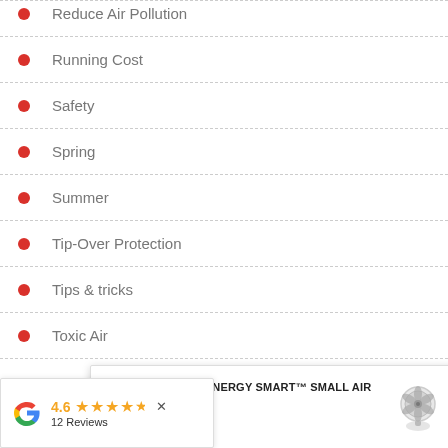Reduce Air Pollution
Running Cost
Safety
Spring
Summer
Tip-Over Protection
Tips & tricks
Toxic Air
[Figure (screenshot): Product popup card for VORNADO 533DC ENERGY SMART™ SMALL AIR CIRCULATOR priced at $229.00, with a product image of a fan on the right.]
[Figure (other): Google rating bar showing 4.6 stars with 5 gold stars and '12 Reviews', with Google logo and close button.]